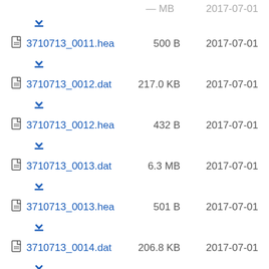3710713_0011.hea  500 B  2017-07-01
3710713_0012.dat  217.0 KB  2017-07-01
3710713_0012.hea  432 B  2017-07-01
3710713_0013.dat  6.3 MB  2017-07-01
3710713_0013.hea  501 B  2017-07-01
3710713_0014.dat  206.8 KB  2017-07-01
3710713_0014.hea  434 B  2017-07-01
3710713_0015.dat  (partial)